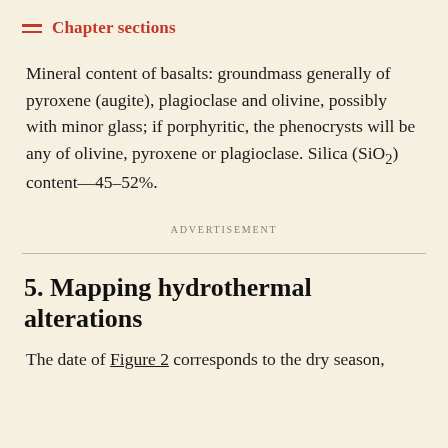Chapter sections
Mineral content of basalts: groundmass generally of pyroxene (augite), plagioclase and olivine, possibly with minor glass; if porphyritic, the phenocrysts will be any of olivine, pyroxene or plagioclase. Silica (SiO₂) content—45–52%.
Advertisement
5. Mapping hydrothermal alterations
The date of Figure 2 corresponds to the dry season,